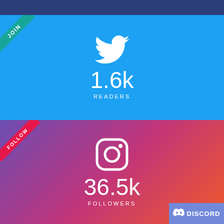[Figure (infographic): Twitter social media card showing 1.6k readers on blue background with Twitter bird icon and JOIN ribbon]
[Figure (infographic): Instagram social media card showing 36.5k followers on gradient purple-pink background with Instagram icon and FOLLOW ribbon]
[Figure (logo): Discord badge in bottom right corner]